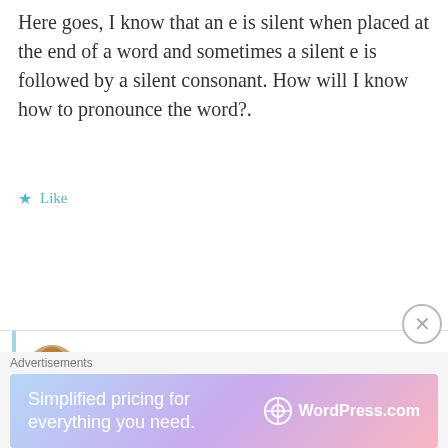Here goes, I know that an e is silent when placed at the end of a word and sometimes a silent e is followed by a silent consonant. How will I know how to pronounce the word?.
Like
expatsincebirth
January 22, 2015 at 8:02 pm
Ok, you would pronounce it as an "e muet". Have a look (or "listen") to some words on this site: http://www.laits.utexas.edu/fi/html/pho/11.htm
Like
Advertisements
[Figure (infographic): WordPress.com advertisement banner: 'Simplified pricing for everything you need.']